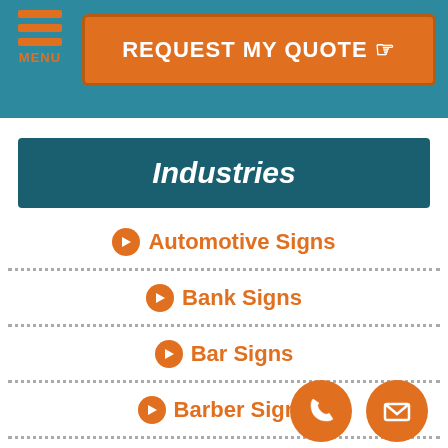MENU
REQUEST MY QUOTE
Industries
Automotive Signs
Bank Signs
Bar Signs
Barber Signs
City Signs
College Signs